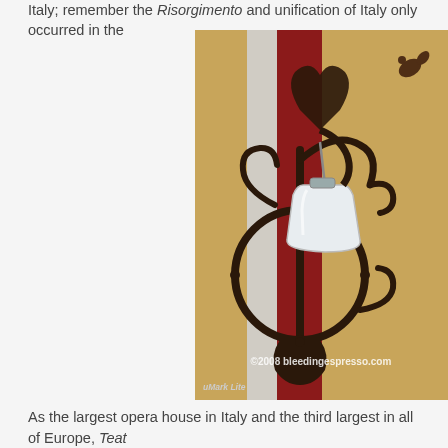Italy; remember the Risorgimento and unification of Italy only occurred in the
[Figure (photo): Close-up photograph of an ornate black wrought iron wall lamp bracket with scrollwork decoration, against a wall with vertical red and tan/gold stripes. A frosted glass bell-shaped shade hangs from the bracket. Watermark reads ©2008 bleedingespresso.com. Label: uMark Lite.]
As the largest opera house in Italy and the third largest in all of Europe, Teat